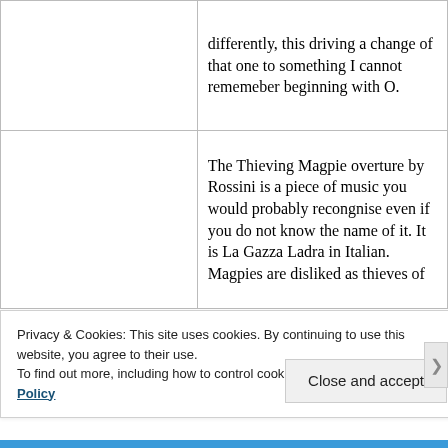|  | differently, this driving a change of that one to something I cannot rememeber beginning with O. |
|  | The Thieving Magpie overture by Rossini is a piece of music you would probably recongnise even if you do not know the name of it. It is La Gazza Ladra in Italian.  Magpies are disliked as thieves of |
Privacy & Cookies: This site uses cookies. By continuing to use this website, you agree to their use.
To find out more, including how to control cookies, see here: Our Cookie Policy
Close and accept